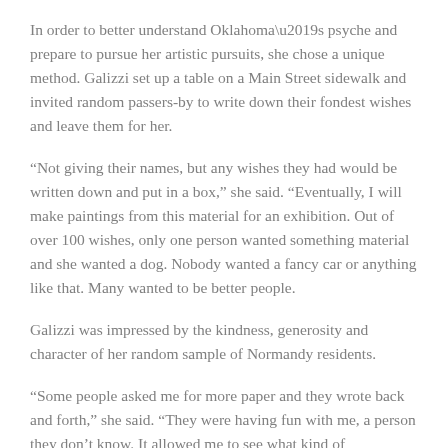In order to better understand Oklahoma’s psyche and prepare to pursue her artistic pursuits, she chose a unique method. Galizzi set up a table on a Main Street sidewalk and invited random passers-by to write down their fondest wishes and leave them for her.
“Not giving their names, but any wishes they had would be written down and put in a box,” she said. “Eventually, I will make paintings from this material for an exhibition. Out of over 100 wishes, only one person wanted something material and she wanted a dog. Nobody wanted a fancy car or anything like that. Many wanted to be better people.
Galizzi was impressed by the kindness, generosity and character of her random sample of Normandy residents.
“Some people asked me for more paper and they wrote back and forth,” she said. “They were having fun with me, a person they don’t know. It allowed me to see what kind of